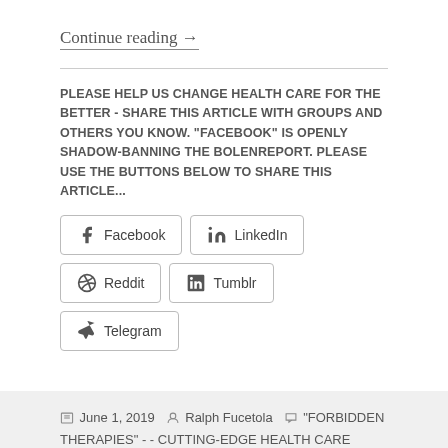Continue reading →
PLEASE HELP US CHANGE HEALTH CARE FOR THE BETTER - SHARE THIS ARTICLE WITH GROUPS AND OTHERS YOU KNOW. "FACEBOOK" IS OPENLY SHADOW-BANNING THE BOLENREPORT. PLEASE USE THE BUTTONS BELOW TO SHARE THIS ARTICLE...
[Figure (other): Social share buttons: Facebook, LinkedIn, Reddit, Tumblr, Telegram]
June 1, 2019  Ralph Fucetola  "FORBIDDEN THERAPIES" -- CUTTING-EDGE HEALTH CARE PARADIGMS, Autism - Vaccine Damage, BIG PHARMA, HEALTH FREEDOM, Ralph Fucetola JD, Reversing Autism, VACCINE HOAX  autism, Dr Rima, retrieving autists, Rima Laibow MD  13 Comments
Proudly powered by WordPress